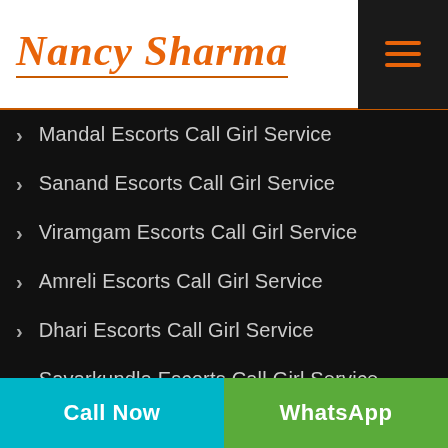[Figure (logo): Nancy Sharma logo in orange italic script font with orange underline, on white background with dark hamburger menu icon on right]
Mandal Escorts Call Girl Service
Sanand Escorts Call Girl Service
Viramgam Escorts Call Girl Service
Amreli Escorts Call Girl Service
Dhari Escorts Call Girl Service
Savarkundla Escorts Call Girl Service
Anand Escorts Call Girl Service
Borsad Escorts Call Girl Service
Khambhat Escorts Call Girl Service
Call Now | WhatsApp